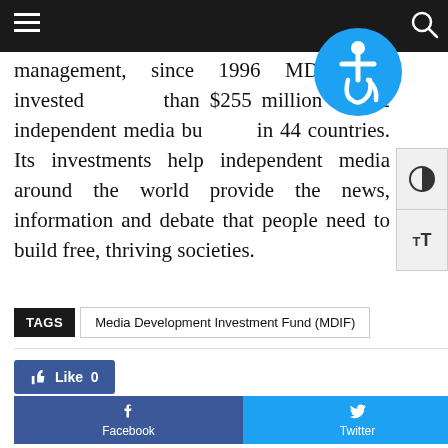Navigation bar with hamburger menu and search icon
management, since 1996 MDIF has invested than $255 million in 132 independent media businesses in 44 countries. Its investments help independent media around the world provide the news, information and debate that people need to build free, thriving societies.
TAGS  Media Development Investment Fund (MDIF)
Like 0
Facebook  Twitter  Pinterest  WhatsApp